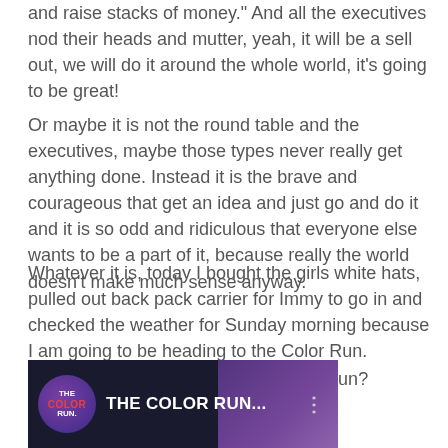and raise stacks of money." And all the executives nod their heads and mutter, yeah, it will be a sell out, we will do it around the whole world, it's going to be great!
Or maybe it is not the round table and the executives, maybe those types never really get anything done. Instead it is the brave and courageous that get an idea and just go and do it and it is so odd and ridiculous that everyone else wants to be a part of it, because really the world doesn't make much sense anyway.
Whatever it is, today I bought the girls white hats, pulled out back pack carrier for Immy to go in and checked the weather for Sunday morning because I am going to be heading to the Color Run.
I wonder if crying will make the colour run?
[Figure (screenshot): Video thumbnail for 'THE COLOR RUN...' with circular logo on dark background with purple gradient on right side]